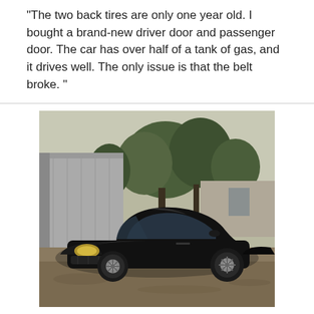"The two back tires are only one year old. I bought a brand-new driver door and passenger door. The car has over half of a tank of gas, and it drives well. The only issue is that the belt broke. "
[Figure (photo): Outdoor photo of a black Pontiac Grand Prix sedan parked on dirt/gravel, with a metal building and trees visible in the background.]